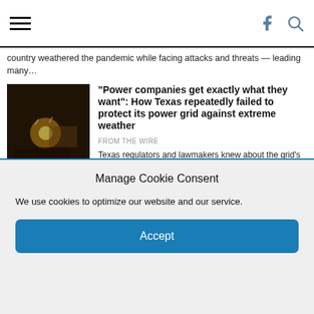[hamburger menu] [Facebook icon] [Search icon]
country weathered the pandemic while facing attacks and threats — leading many…
[Figure (photo): Dark indoor photo of a person with lights, related to Texas power outage story]
“Power companies get exactly what they want”: How Texas repeatedly failed to protect its power grid against extreme weather
FROM THE WIRE
Texas regulators and lawmakers knew about the grid's vulnerabilities for years, but time and again they furthered the interests of…
[Figure (photo): Placeholder image for riot squad cops article]
“I don’t trust the people above me”: Riot squad cops open up about disastrous
Manage Cookie Consent
We use cookies to optimize our website and our service.
Accept